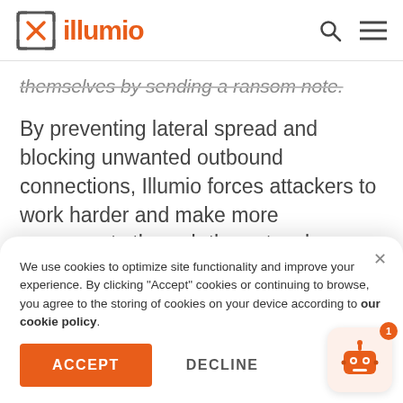illumio
themselves by sending a ransom note.
By preventing lateral spread and blocking unwanted outbound connections, Illumio forces attackers to work harder and make more movements through the network looking for open pathways. This significantly increases the likelihood of
We use cookies to optimize site functionality and improve your experience. By clicking "Accept" cookies or continuing to browse, you agree to the storing of cookies on your device according to our cookie policy.
ACCEPT
DECLINE